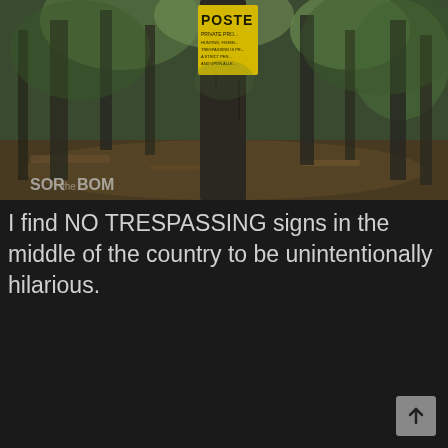[Figure (photo): Forest scene with trees and undergrowth. A yellow 'POSTED - Private Property' sign is attached to a tree trunk in the center of the image. Text visible in bottom left corner reads 'SOR BOM' or similar.]
I find NO TRESPASSING signs in the middle of the country to be unintentionally hilarious.